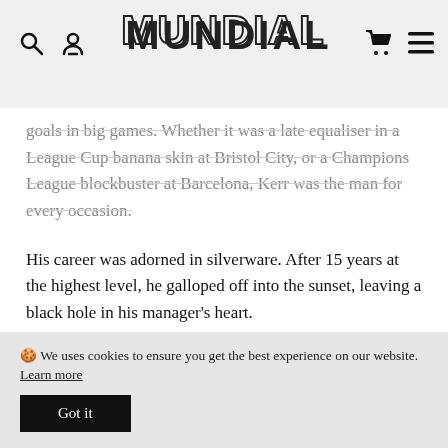MUNDIAL [logo with navigation icons]
goals in big games. Whether it was a late equaliser in a League Cup banana skin at Bristol City, or a Champions League blockbuster at Barcelona, Kerr was the man for every occasion.
His career was adorned in silverware. After 15 years at the highest level, he galloped off into the sunset, leaving a black hole in his manager’s heart.
The emptiness will never be filled. The memories never fade. The tears of gratitude never dry.
🍪 We uses cookies to ensure you get the best experience on our website. Learn more
Got it